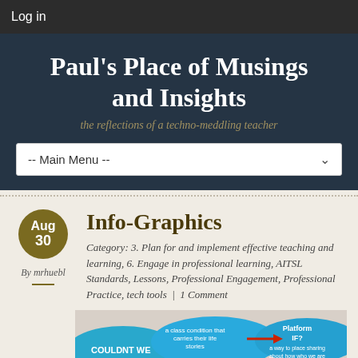Log in
Paul's Place of Musings and Insights
the reflections of a techno-meddling teacher
-- Main Menu --
Info-Graphics
By mrhuebl
Category: 3. Plan for and implement effective teaching and learning, 6. Engage in professional learning, AITSL Standards, Lessons, Professional Engagement, Professional Practice, tech tools  |  1 Comment
[Figure (photo): Partial view of an infographic showing blue sticky notes with handwritten text including COULDNT WE and various questions, with a red arrow pointing right.]